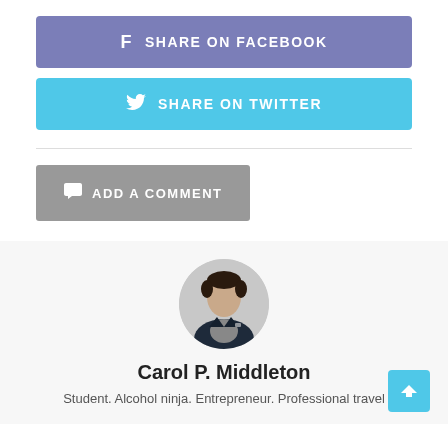f  SHARE ON FACEBOOK
SHARE ON TWITTER
ADD A COMMENT
[Figure (photo): Circular author avatar photo of a man in a dark blazer and grey shirt]
Carol P. Middleton
Student. Alcohol ninja. Entrepreneur. Professional travel